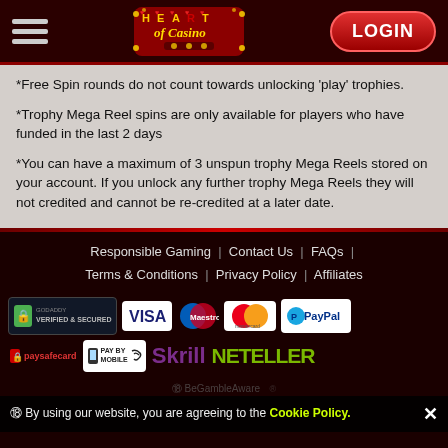[Figure (logo): Heart of Casino logo with hamburger menu and LOGIN button in header]
*Free Spin rounds do not count towards unlocking 'play' trophies.
*Trophy Mega Reel spins are only available for players who have funded in the last 2 days
*You can have a maximum of 3 unspun trophy Mega Reels stored on your account. If you unlock any further trophy Mega Reels they will not credited and cannot be re-credited at a later date.
Responsible Gaming | Contact Us | FAQs | Terms & Conditions | Privacy Policy | Affiliates
[Figure (logo): Payment provider logos: GoDaddy Verified & Secured, VISA, Maestro, Mastercard, PayPal, paysafecard, Pay By Mobile, Skrill, NETELLER]
By using our website, you are agreeing to the Cookie Policy.